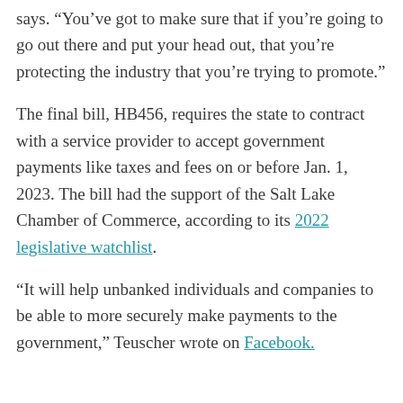says. “You’ve got to make sure that if you’re going to go out there and put your head out, that you’re protecting the industry that you’re trying to promote.”
The final bill, HB456, requires the state to contract with a service provider to accept government payments like taxes and fees on or before Jan. 1, 2023. The bill had the support of the Salt Lake Chamber of Commerce, according to its 2022 legislative watchlist.
“It will help unbanked individuals and companies to be able to more securely make payments to the government,” Teuscher wrote on Facebook.